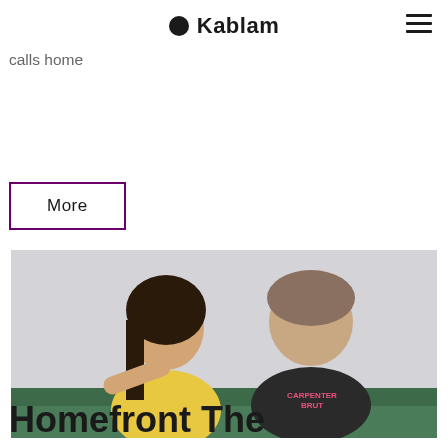Kablam
Overwatch features a London map that is just the latest in a long line of misrepresentations of the city that Outside Xbox calls home
More
[Figure (photo): Two people (a woman in a yellow top and a man in a Carpenter Brut t-shirt) sitting on a green sofa]
Homefront The